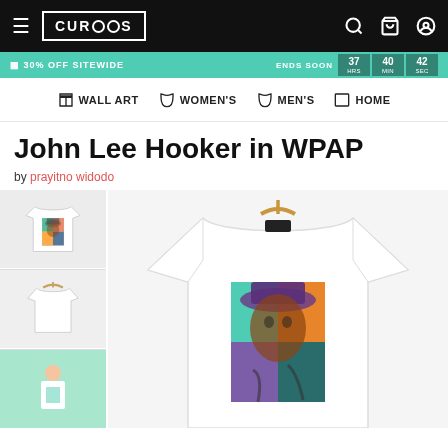CURIOOS navigation bar with logo, search, cart, account icons
30% OFF SITEWIDE ENDS SOON HRS 37 MIN 40 SEC 42
WALL ART  WOMEN'S  MEN'S  HOME
John Lee Hooker in WPAP
by prayitno widodo
[Figure (photo): Product page showing a white t-shirt with John Lee Hooker WPAP art print — thumbnails on the left (front view with graphic, back view plain white, green-background model shot) and a large main image on the right showing the t-shirt on a hanger with the colorful WPAP portrait print]